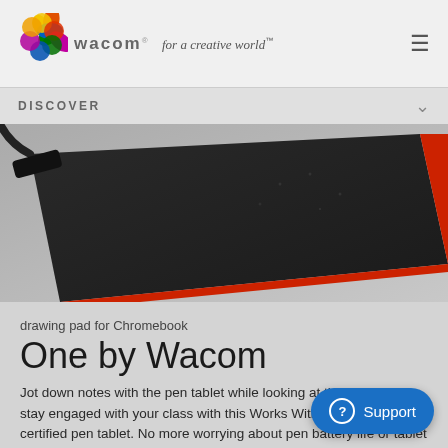[Figure (logo): Wacom logo with colorful flower icon and tagline 'for a creative world']
DISCOVER
[Figure (photo): Close-up photo of a Wacom One drawing tablet showing the corner with a USB cable plugged in, black surface with red trim]
drawing pad for Chromebook
One by Wacom
Jot down notes with the pen tablet while looking at the screen to stay engaged with your class with this Works With Chromebook certified pen tablet. No more worrying about pen battery life or tablet connecti... thoughts seamlessly with your pen, tablet and Chromebook is...